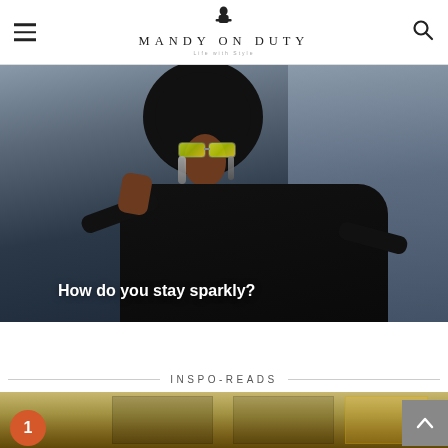MANDY ON DUTY — Life with Style
[Figure (photo): A woman with a large natural afro hairstyle wearing mirrored sunglasses and dangling earrings, dressed in a black off-shoulder top, posing against a light grey background. Text overlay reads 'How do you stay sparkly?']
How do you stay sparkly?
INSPO-READS
[Figure (photo): Thumbnail image showing what appears to be a door or wooden furniture in warm golden tones, partially visible at the bottom of the page. A red circle badge with the number 1 is visible on the left side.]